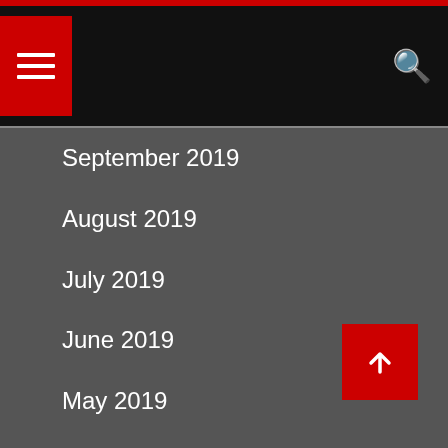Navigation menu header with hamburger menu and search icon
September 2019
August 2019
July 2019
June 2019
May 2019
April 2019
March 2019
February 2019
December 2018